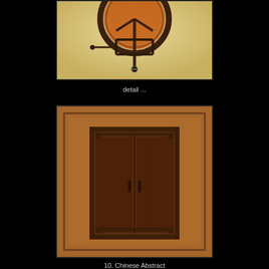[Figure (photo): Close-up detail of a circular mechanical wheel or millstone with metal clamps/bolts against a sandy/straw background, viewed from above]
detail ...
[Figure (photo): A Chinese abstract artwork featuring wooden double doors or shutters with carved rectangular frame, rendered in warm brown/copper tones]
10. Chinese Abstract